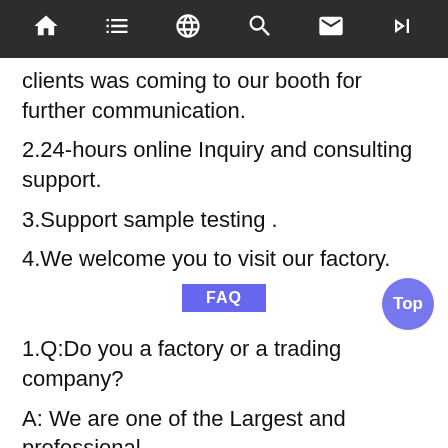[Navigation bar with home, list, translate, search, mail, skip icons]
clients was coming to our booth for further communication.
2.24-hours online Inquiry and consulting support.
3.Support sample testing .
4.We welcome you to visit our factory.
FAQ
1.Q:Do you a factory or a trading company?
A: We are one of the Largest and professional